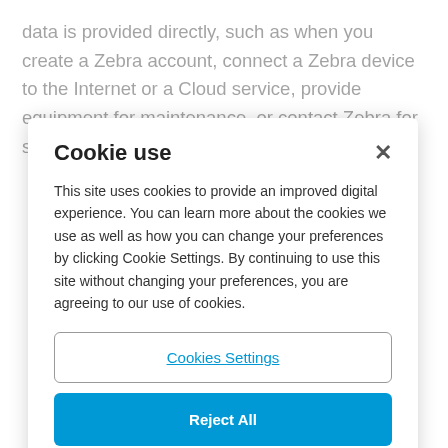data is provided directly, such as when you create a Zebra account, connect a Zebra device to the Internet or a Cloud service, provide equipment for maintenance, or contact Zebra for support or to perform other services.  Zebra
Cookie use
This site uses cookies to provide an improved digital experience. You can learn more about the cookies we use as well as how you can change your preferences by clicking Cookie Settings. By continuing to use this site without changing your preferences, you are agreeing to our use of cookies.
Cookies Settings
Reject All
Accept Cookies